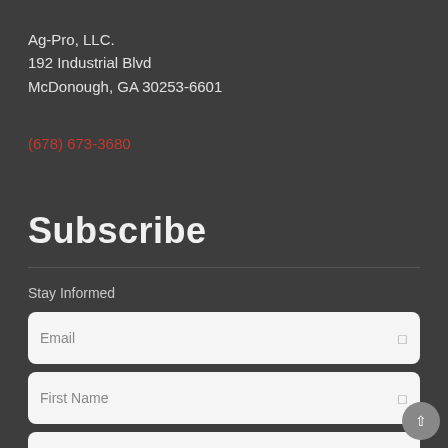Ag-Pro, LLC.
192 Industrial Blvd
McDonough, GA 30253-6601
(678) 673-3680
Subscribe
Stay Informed
Email
First Name
Last Name